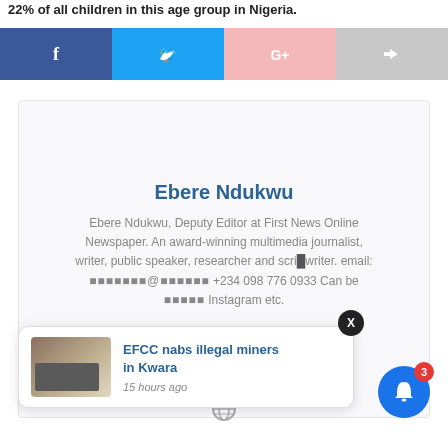22% of all children in this age group in Nigeria.
[Figure (screenshot): Social share buttons: Facebook (blue), Twitter (light blue), Google+ (pink), Share (gray)]
Ebere Ndukwu
Ebere Ndukwu, Deputy Editor at First News Online Newspaper. An award-winning multimedia journalist, writer, public speaker, researcher and scriptwriter. email: ... @gmail... +234 098 776 0933 Can be ... Instagram etc.
[Figure (screenshot): Notification popup: 'EFCC nabs illegal miners in Kwara' with truck image thumbnail and '15 hours ago' timestamp]
[Figure (screenshot): Notification bell button (blue circle) with red badge showing '3']